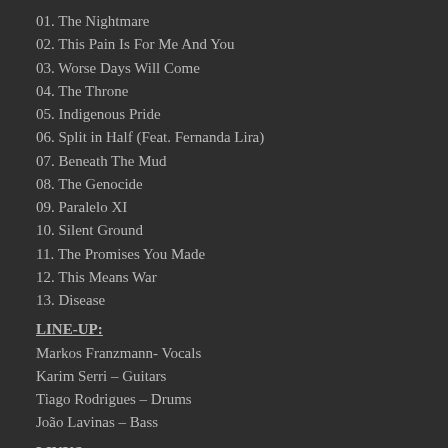01. The Nightmare
02. This Pain Is For Me And You
03. Worse Days Will Come
04. The Throne
05. Indigenous Pride
06. Split in Half (Feat. Fernanda Lira)
07. Beneath The Mud
08. The Genocide
09. Paralelo XI
10. Silent Ground
11. The Promises You Made
12. This Means War
13. Disease
LINE-UP:
Markos Franzmann- Vocals
Karim Serri – Guitars
Tiago Rodrigues – Drums
João Lavinas – Bass
LINKS: